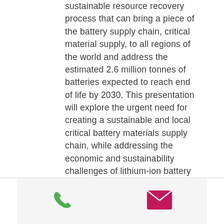sustainable resource recovery process that can bring a piece of the battery supply chain, critical material supply, to all regions of the world and address the estimated 2.6 million tonnes of batteries expected to reach end of life by 2030. This presentation will explore the urgent need for creating a sustainable and local critical battery materials supply chain, while addressing the economic and sustainability challenges of lithium-ion battery recycling and how Li-Cycle Spoke & Hub Technologies are able to help overcome some of these industry challenges and close the loop for critical battery materials throughout the world.
[Figure (infographic): Contact bar with green phone icon and pink/magenta email envelope icon]